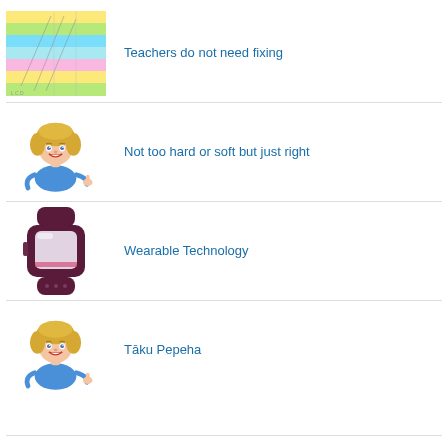Teachers do not need fixing
Not too hard or soft but just right
Wearable Technology
Tāku Pepeha